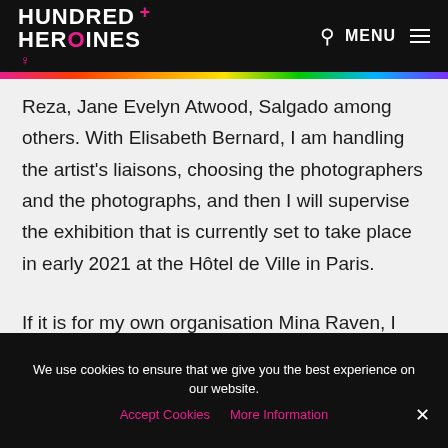HUNDRED+ HEROINES
Reza, Jane Evelyn Atwood, Salgado among others. With Elisabeth Bernard, I am handling the artist's liaisons, choosing the photographers and the photographs, and then I will supervise the exhibition that is currently set to take place in early 2021 at the Hôtel de Ville in Paris.

If it is for my own organisation Mina Raven, I
We use cookies to ensure that we give you the best experience on our website. Accept Cookies  More Information